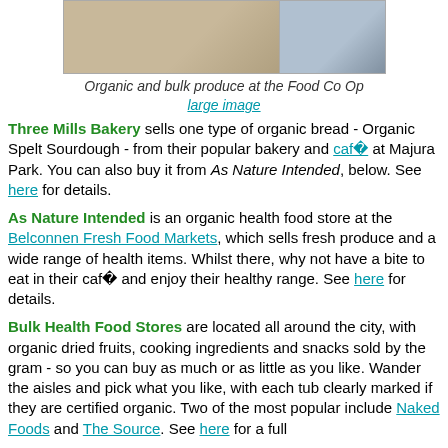[Figure (photo): Two photos side by side showing organic and bulk produce at the Food Co Op]
Organic and bulk produce at the Food Co Op
large image
Three Mills Bakery sells one type of organic bread - Organic Spelt Sourdough - from their popular bakery and café at Majura Park. You can also buy it from As Nature Intended, below. See here for details.
As Nature Intended is an organic health food store at the Belconnen Fresh Food Markets, which sells fresh produce and a wide range of health items. Whilst there, why not have a bite to eat in their café and enjoy their healthy range. See here for details.
Bulk Health Food Stores are located all around the city, with organic dried fruits, cooking ingredients and snacks sold by the gram - so you can buy as much or as little as you like. Wander the aisles and pick what you like, with each tub clearly marked if they are certified organic. Two of the most popular include Naked Foods and The Source. See here for a full